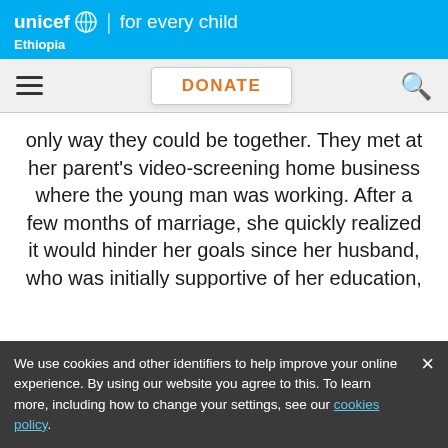unicef for every child | Ethiopia
[Figure (screenshot): Navigation bar with hamburger menu, DONATE button, and search icon]
only way they could be together. They met at her parent's video-screening home business where the young man was working. After a few months of marriage, she quickly realized it would hinder her goals since her husband, who was initially supportive of her education, had changed his mind. With the support of her school and parents, she pressed for divorce and they were officially separated in September 2018 just in time for the
We use cookies and other identifiers to help improve your online experience. By using our website you agree to this. To learn more, including how to change your settings, see our cookies policy.